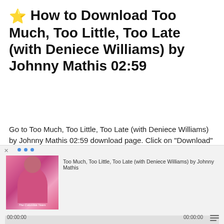⭐ How to Download Too Much, Too Little, Too Late (with Deniece Williams) by Johnny Mathis 02:59
Go to Too Much, Too Little, Too Late (with Deniece Williams) by Johnny Mathis 02:59 download page. Click on "Download" MP3 or FLAC button. We work only with Filecat! Become Premium and download MP3 and FLAC without any restrictions! This is cheap and fast.
[Figure (screenshot): Audio player widget showing album art of a woman with pink background, track title 'Too Much, Too Little, Too Late (with Deniece Williams) by Johnny Mathis', playback controls (previous, play, next), waveform, and time display 00:00:00 on both sides]